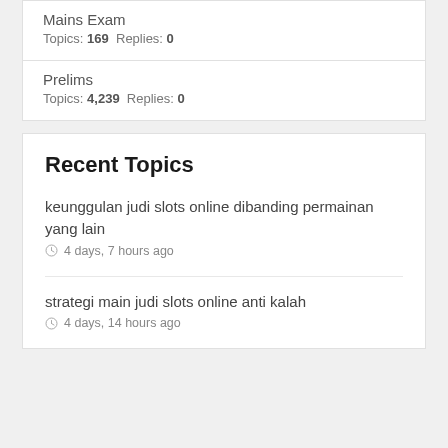Mains Exam
Topics: 169  Replies: 0
Prelims
Topics: 4,239  Replies: 0
Recent Topics
keunggulan judi slots online dibanding permainan yang lain
4 days, 7 hours ago
strategi main judi slots online anti kalah
4 days, 14 hours ago